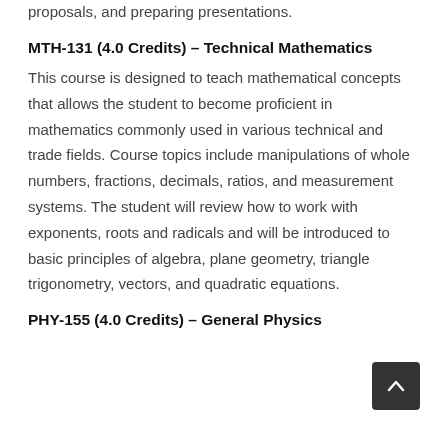proposals, and preparing presentations.
MTH-131 (4.0 Credits) – Technical Mathematics
This course is designed to teach mathematical concepts that allows the student to become proficient in mathematics commonly used in various technical and trade fields. Course topics include manipulations of whole numbers, fractions, decimals, ratios, and measurement systems. The student will review how to work with exponents, roots and radicals and will be introduced to basic principles of algebra, plane geometry, triangle trigonometry, vectors, and quadratic equations.
PHY-155 (4.0 Credits) – General Physics